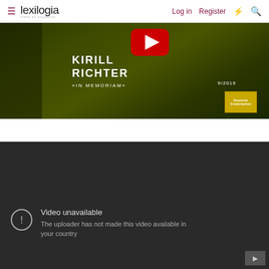lexilogia | Log in | Register
[Figure (screenshot): YouTube video thumbnail for Kirill Richter 'In Memoriam' album, 9/2019, Deutsche Grammophon. Shows text KIRILL RICHTER »IN MEMORIAM« 9/2019 with play button and DG logo over a dark green background.]
[Figure (screenshot): YouTube embedded player showing 'Video unavailable - The uploader has not made this video available in your country' error message on dark background with exclamation circle icon and YouTube logo in corner.]